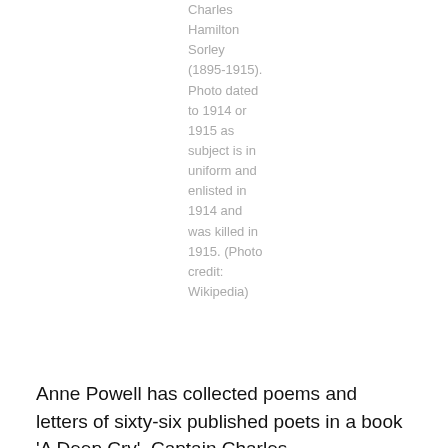Charles Hamilton Sorley (1895-1915). Photo dated to 1914 or 1915 as subject is in uniform and enlisted in 1914 and was killed in 1915. (Photo credit: Wikipedia)
Anne Powell has collected poems and letters of sixty-six published poets in a book 'A Deep Cry'. Captain Charles